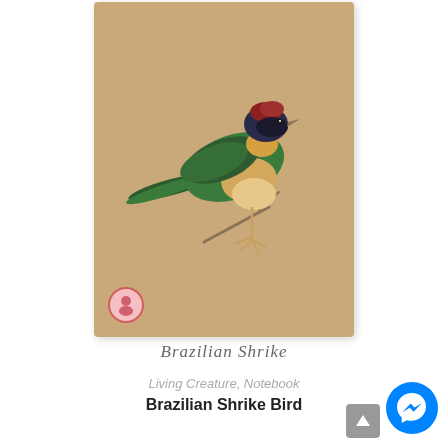[Figure (photo): A notebook with a kraft brown cover featuring an illustration of a Brazilian Shrike Bird perched on a twig, with a small circular logo/seal in the bottom left corner of the cover. The bird has a reddish-brown head, dark facial mask, green wings and back, and a yellowish-cream breast.]
Brazilian Shrike
Living Creature, Notebook
Brazilian Shrike Bird